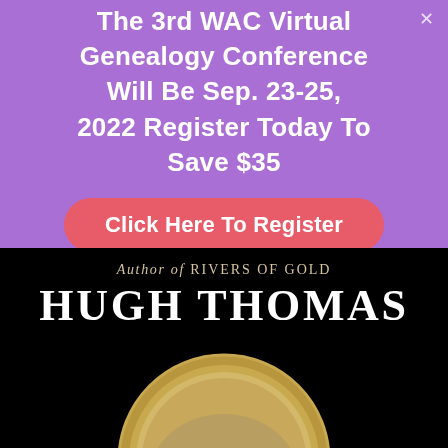The 3rd WAC Virtual Genealogy Conference Will Be Sep. 23-25, 2022 Register Today To Save $35
Click Here To Register
[Figure (photo): Book cover showing 'Author of RIVERS OF GOLD' and 'HUGH THOMAS' in large white letters on a black background, with a partial view of a circular gold-framed medallion or seal image below]